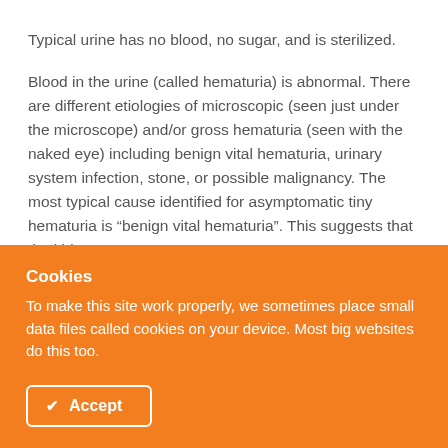Typical urine has no blood, no sugar, and is sterilized.
Blood in the urine (called hematuria) is abnormal. There are different etiologies of microscopic (seen just under the microscope) and/or gross hematuria (seen with the naked eye) including benign vital hematuria, urinary system infection, stone, or possible malignancy. The most typical cause identified for asymptomatic tiny hematuria is “benign vital hematuria”. This suggests that the kidneys are
Cookies
To make this site work properly, we sometimes place small data files called cookies on your device. Most big websites do this too.
Accept